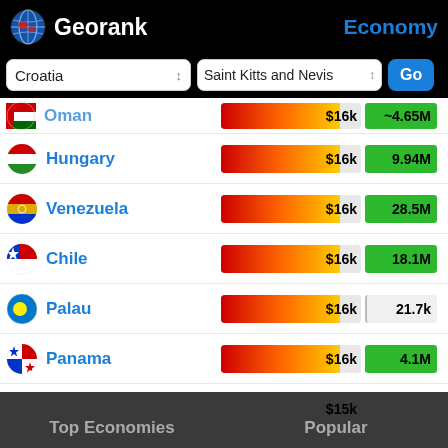Georank — Economy
Croatia | Saint Kitts and Nevis | Go
| Country | GDP per capita | Population |
| --- | --- | --- |
| Oman | $16k | ~4.65M |
| Hungary | $16k | 9.94M |
| Venezuela | $16k | 28.5M |
| Chile | $16k | 18.1M |
| Palau | $16k | 21.7k |
| Panama | $16k | 4.1M |
| Poland | $15k | 38.4M |
| Romania | $12k | 19.6M |
Top Economies   Popular